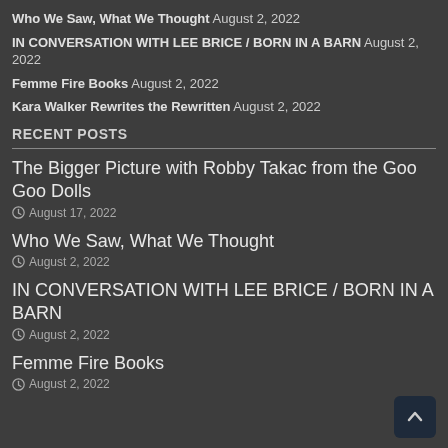Who We Saw, What We Thought August 2, 2022
IN CONVERSATION WITH LEE BRICE / BORN IN A BARN August 2, 2022
Femme Fire Books August 2, 2022
Kara Walker Rewrites the Rewritten August 2, 2022
RECENT POSTS
The Bigger Picture with Robby Takac from the Goo Goo Dolls
August 17, 2022
Who We Saw, What We Thought
August 2, 2022
IN CONVERSATION WITH LEE BRICE / BORN IN A BARN
August 2, 2022
Femme Fire Books
August 2, 2022